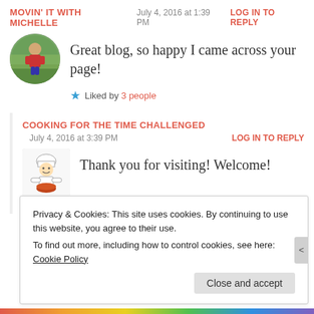MOVIN' IT WITH MICHELLE   July 4, 2016 at 1:39 PM   LOG IN TO REPLY
Great blog, so happy I came across your page!
★ Liked by 3 people
COOKING FOR THE TIME CHALLENGED
July 4, 2016 at 3:39 PM   LOG IN TO REPLY
Thank you for visiting! Welcome!
★ Liked by 1 person
Privacy & Cookies: This site uses cookies. By continuing to use this website, you agree to their use.
To find out more, including how to control cookies, see here: Cookie Policy
Close and accept